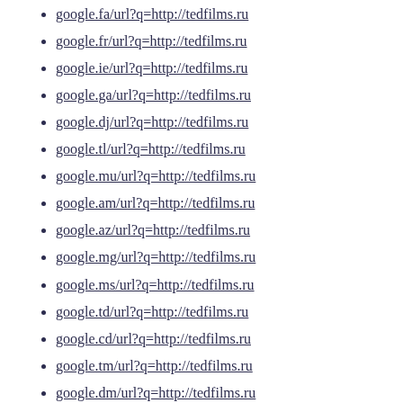google.fa/url?q=http://tedfilms.ru
google.fr/url?q=http://tedfilms.ru
google.ie/url?q=http://tedfilms.ru
google.ga/url?q=http://tedfilms.ru
google.dj/url?q=http://tedfilms.ru
google.tl/url?q=http://tedfilms.ru
google.mu/url?q=http://tedfilms.ru
google.am/url?q=http://tedfilms.ru
google.az/url?q=http://tedfilms.ru
google.mg/url?q=http://tedfilms.ru
google.ms/url?q=http://tedfilms.ru
google.td/url?q=http://tedfilms.ru
google.cd/url?q=http://tedfilms.ru
google.tm/url?q=http://tedfilms.ru
google.dm/url?q=http://tedfilms.ru
google.nl/url?q=http://tedfilms.ru
google.lv/url?q=http://tedfilms.ru
google.net/url?q=http://tedfilms.ru
google.com/url?q=http://tedfilms.ru